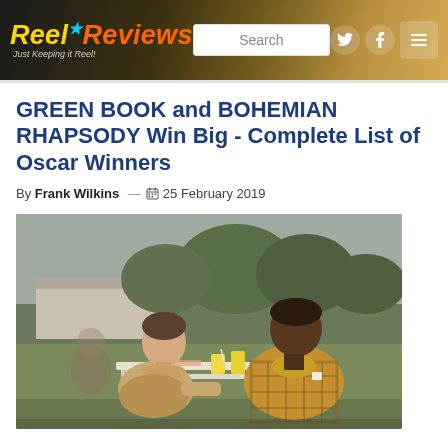Reel Reviews — Just Keeping it Reel!
GREEN BOOK and BOHEMIAN RHAPSODY Win Big - Complete List of Oscar Winners
By Frank Wilkins — 25 February 2019
[Figure (photo): Two men sitting at an outdoor picnic table — a white man in a tan sweater on the left and a Black man in a plaid blazer and yellow turtleneck on the right, from the movie Green Book.]